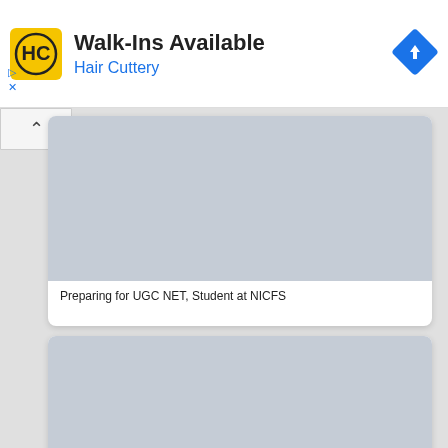[Figure (screenshot): Hair Cuttery advertisement banner with yellow HC logo, title 'Walk-Ins Available', subtitle 'Hair Cuttery' in blue, and a blue diamond navigation icon on the right]
[Figure (screenshot): Gray placeholder image for a social media profile card]
Preparing for UGC NET, Student at NICFS
[Figure (screenshot): Gray placeholder image for a second social media profile card]
Preparing for UGC NET, Student at NICFS